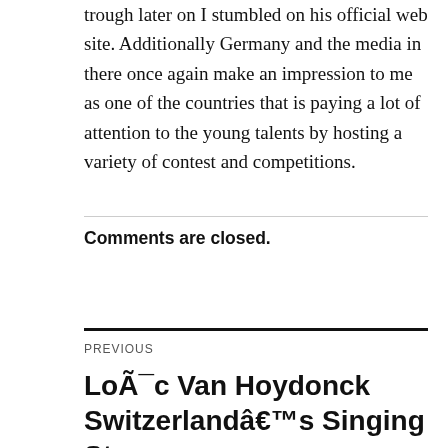trough later on I stumbled on his official web site. Additionally Germany and the media in there once again make an impression to me as one of the countries that is paying a lot of attention to the young talents by hosting a variety of contest and competitions.
Comments are closed.
PREVIOUS
LoÃ¯c Van Hoydonck Switzerlandâ€™s Singing Star